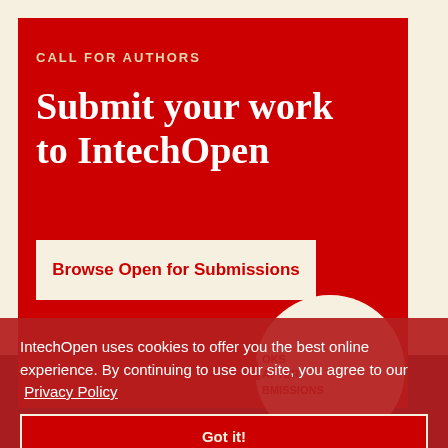CALL FOR AUTHORS
Submit your work to IntechOpen
Browse Open for Submissions
[Figure (illustration): Red promotional panel for IntechOpen with decorative white circle and dark bottom section showing partial text: BOOKS, CHAPTER, SUBMISSIONS]
IntechOpen uses cookies to offer you the best online experience. By continuing to use our site, you agree to our Privacy Policy
Got it!